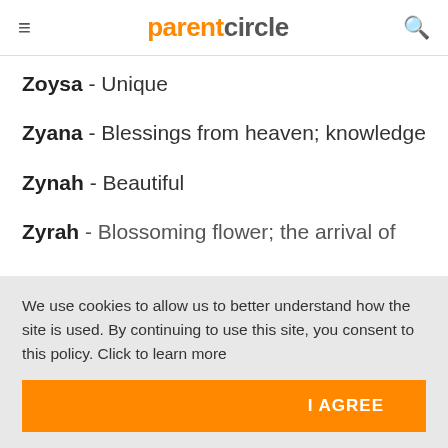parentcircle
Zoysa - Unique
Zyana - Blessings from heaven; knowledge
Zynah - Beautiful
Zyrah - Blossoming flower; the arrival of
We use cookies to allow us to better understand how the site is used. By continuing to use this site, you consent to this policy. Click to learn more